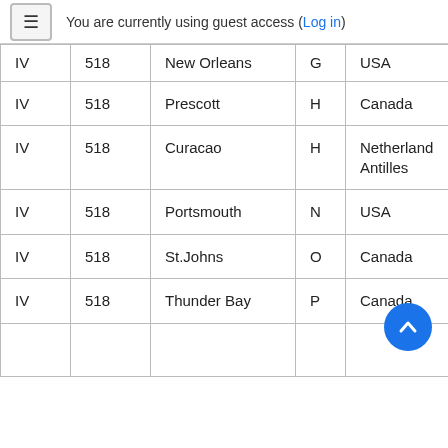You are currently using guest access (Log in)
| IV | 518 | New Orleans | G | USA |
| IV | 518 | Prescott | H | Canada |
| IV | 518 | Curacao | H | Netherland Antilles |
| IV | 518 | Portsmouth | N | USA |
| IV | 518 | St.Johns | O | Canada |
| IV | 518 | Thunder Bay | P | Canada |
|  |  |  |  |  |